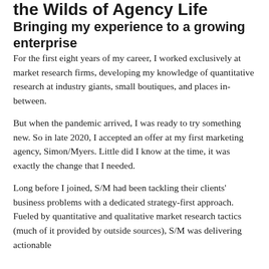the Wilds of Agency Life
Bringing my experience to a growing enterprise
For the first eight years of my career, I worked exclusively at market research firms, developing my knowledge of quantitative research at industry giants, small boutiques, and places in-between.
But when the pandemic arrived, I was ready to try something new. So in late 2020, I accepted an offer at my first marketing agency, Simon/Myers. Little did I know at the time, it was exactly the change that I needed.
Long before I joined, S/M had been tackling their clients' business problems with a dedicated strategy-first approach. Fueled by quantitative and qualitative market research tactics (much of it provided by outside sources), S/M was delivering actionable